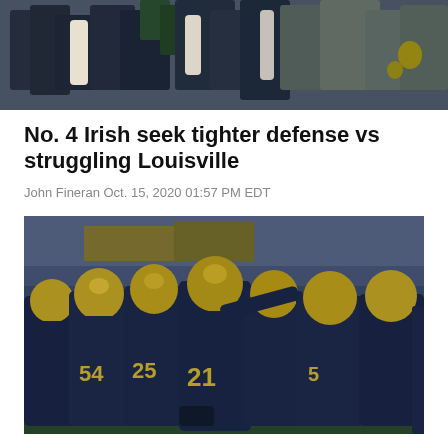[Figure (photo): Aerial/crowd view of people in suits and formal attire, including Notre Dame football team members walking through a crowd with green and gold accents visible]
No. 4 Irish seek tighter defense vs struggling Louisville
John Fineran Oct. 15, 2020 01:57 PM EDT
[Figure (photo): Football players in navy blue and gold uniforms with helmets huddling together on the field; player number 21 is prominent in the center, and number 54 on the left]